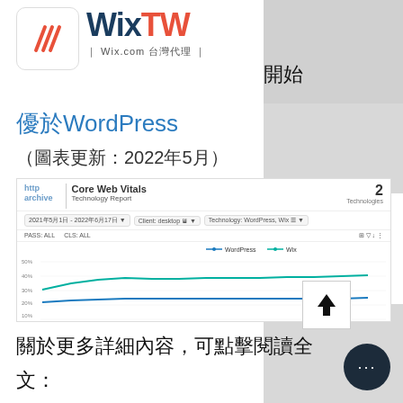[Figure (logo): WixTW logo - Wix.com 台灣代理]
WixTW | Wix.com 台灣代理
開始
優於WordPress
（圖表更新：2022年5月）
[Figure (screenshot): HTTP Archive Core Web Vitals Technology Report screenshot showing line chart comparing WordPress vs Wix performance from 2021年5月 to 2022年5月, desktop client. Two lines: WordPress (blue, lower ~25-30%) and Wix (teal, higher ~35-45%). Date range: 2021年5月1日 - 2022年6月17日. Technology: WordPress, Wix.]
關於更多詳細內容，可點擊閱讀全文：